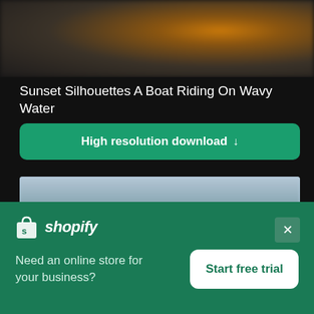[Figure (photo): Blurred photo of a sunset over wavy water with orange and dark tones]
Sunset Silhouettes A Boat Riding On Wavy Water
High resolution download ↓
[Figure (photo): Blurred photo of a green mountain or hill with hazy sky and coastal town]
[Figure (logo): Shopify logo with shopping bag icon and italic wordmark]
Need an online store for your business?
Start free trial